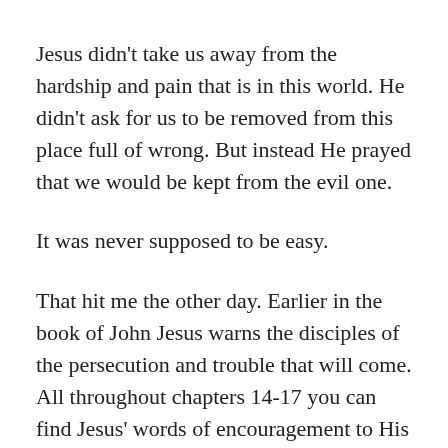Jesus didn't take us away from the hardship and pain that is in this world. He didn't ask for us to be removed from this place full of wrong. But instead He prayed that we would be kept from the evil one.
It was never supposed to be easy.
That hit me the other day. Earlier in the book of John Jesus warns the disciples of the persecution and trouble that will come. All throughout chapters 14-17 you can find Jesus' words of encouragement to His followers. That